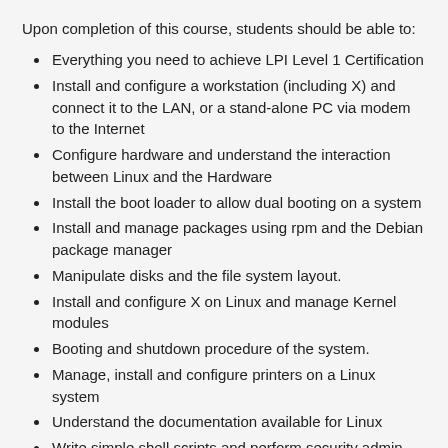Upon completion of this course, students should be able to:
Everything you need to achieve LPI Level 1 Certification
Install and configure a workstation (including X) and connect it to the LAN, or a stand-alone PC via modem to the Internet
Configure hardware and understand the interaction between Linux and the Hardware
Install the boot loader to allow dual booting on a system
Install and manage packages using rpm and the Debian package manager
Manipulate disks and the file system layout.
Install and configure X on Linux and manage Kernel modules
Booting and shutdown procedure of the system.
Manage, install and configure printers on a Linux system
Understand the documentation available for Linux
Write simple shell scripts and perform security admin. tasks